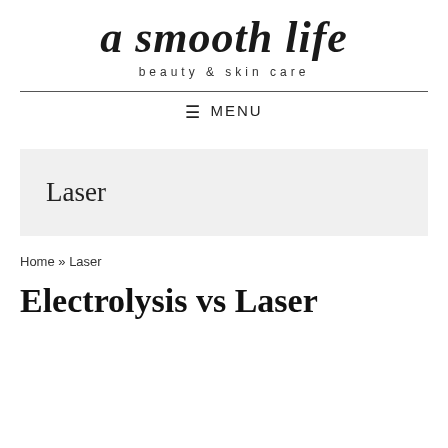[Figure (logo): a smooth life beauty & skin care logo in cursive script with subtitle]
≡ MENU
Laser
Home » Laser
Electrolysis vs Laser